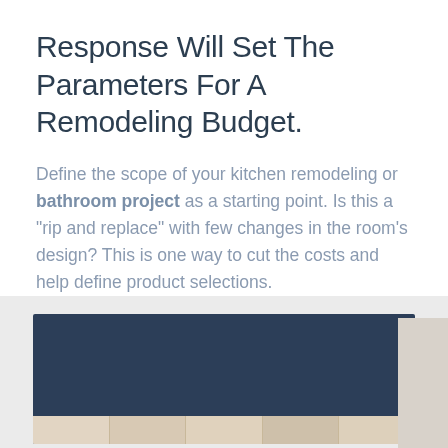Response Will Set The Parameters For A Remodeling Budget.
Define the scope of your kitchen remodeling or bathroom project as a starting point. Is this a “rip and replace” with few changes in the room’s design? This is one way to cut the costs and help define product selections.
[Figure (photo): A dark navy blue panel/image area at the bottom of the page over a light gray background section, with a decorative strip of tan/wood-toned segments visible at the bottom of the dark panel.]